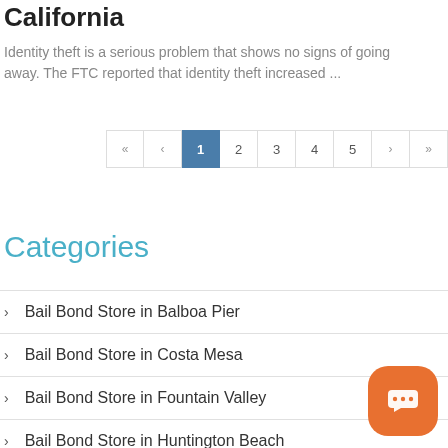California
Identity theft is a serious problem that shows no signs of going away. The FTC reported that identity theft increased ...
Pagination: « ‹ 1 2 3 4 5 › »
Categories
Bail Bond Store in Balboa Pier
Bail Bond Store in Costa Mesa
Bail Bond Store in Fountain Valley
Bail Bond Store in Huntington Beach